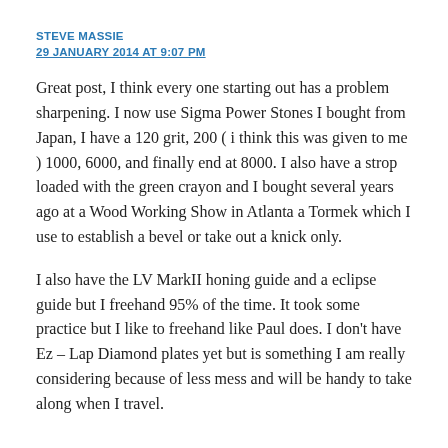STEVE MASSIE
29 JANUARY 2014 AT 9:07 PM
Great post, I think every one starting out has a problem sharpening. I now use Sigma Power Stones I bought from Japan, I have a 120 grit, 200 ( i think this was given to me ) 1000, 6000, and finally end at 8000. I also have a strop loaded with the green crayon and I bought several years ago at a Wood Working Show in Atlanta a Tormek which I use to establish a bevel or take out a knick only.
I also have the LV MarkII honing guide and a eclipse guide but I freehand 95% of the time. It took some practice but I like to freehand like Paul does. I don’t have Ez – Lap Diamond plates yet but is something I am really considering because of less mess and will be handy to take along when I travel.